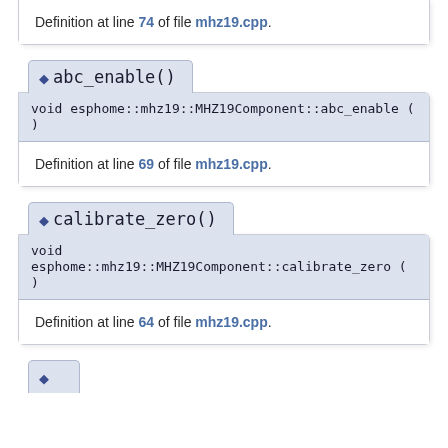Definition at line 74 of file mhz19.cpp.
abc_enable()
void esphome::mhz19::MHZ19Component::abc_enable ( )
Definition at line 69 of file mhz19.cpp.
calibrate_zero()
void esphome::mhz19::MHZ19Component::calibrate_zero ( )
Definition at line 64 of file mhz19.cpp.